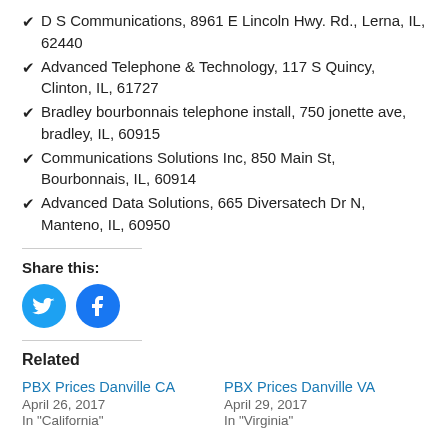D S Communications, 8961 E Lincoln Hwy. Rd., Lerna, IL, 62440
Advanced Telephone & Technology, 117 S Quincy, Clinton, IL, 61727
Bradley bourbonnais telephone install, 750 jonette ave, bradley, IL, 60915
Communications Solutions Inc, 850 Main St, Bourbonnais, IL, 60914
Advanced Data Solutions, 665 Diversatech Dr N, Manteno, IL, 60950
Share this:
[Figure (illustration): Twitter and Facebook social sharing buttons (circular blue icons)]
Related
PBX Prices Danville CA
April 26, 2017
In "California"
PBX Prices Danville VA
April 29, 2017
In "Virginia"